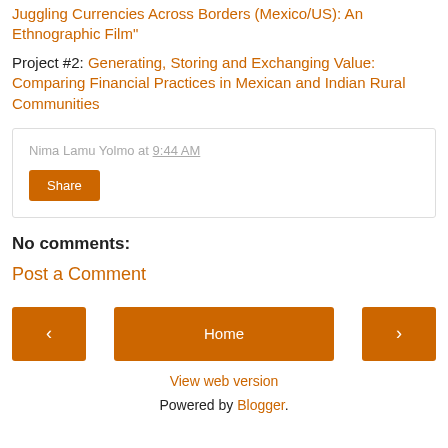Juggling Currencies Across Borders (Mexico/US): An Ethnographic Film"
Project #2: Generating, Storing and Exchanging Value: Comparing Financial Practices in Mexican and Indian Rural Communities
Nima Lamu Yolmo at 9:44 AM
Share
No comments:
Post a Comment
Home
View web version
Powered by Blogger.